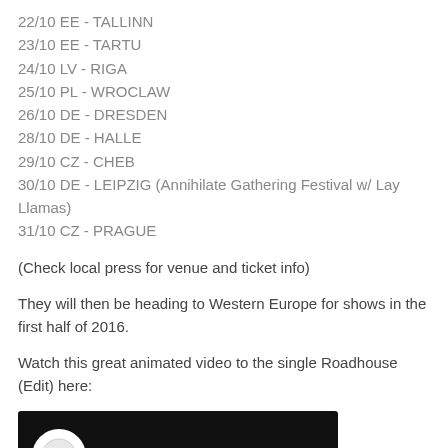22/10 EE - TALLINN
23/10 EE - TARTU
24/10 LV - RIGA
25/10 PL - WROCLAW
26/10 DE - DRESDEN
28/10 DE - HALLE
29/10 CZ - CHEB
30/10 DE - LEIPZIG (Annihilate Gathering Festival w/ Lay Llamas)
31/10 CZ - PRAGUE
(Check local press for venue and ticket info)
They will then be heading to Western Europe for shows in the first half of 2016.
Watch this great animated video to the single Roadhouse (Edit) here:
[Figure (screenshot): YouTube video thumbnail showing 'Gnoomes - Roadh...' with a circular logo on the left and three-dot menu icon, with 'GNOOMES' text visible at the bottom in grey on black background.]